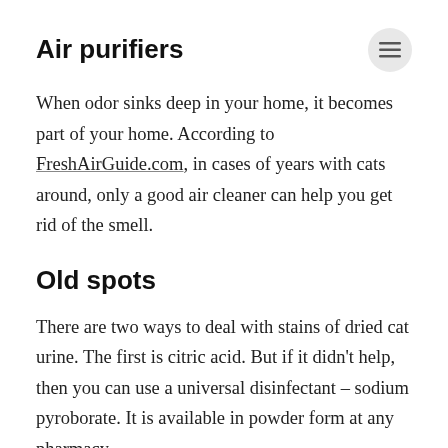Air purifiers
When odor sinks deep in your home, it becomes part of your home. According to FreshAirGuide.com, in cases of years with cats around, only a good air cleaner can help you get rid of the smell.
Old spots
There are two ways to deal with stains of dried cat urine. The first is citric acid. But if it didn't help, then you can use a universal disinfectant – sodium pyroborate. It is available in powder form at any pharmacy.